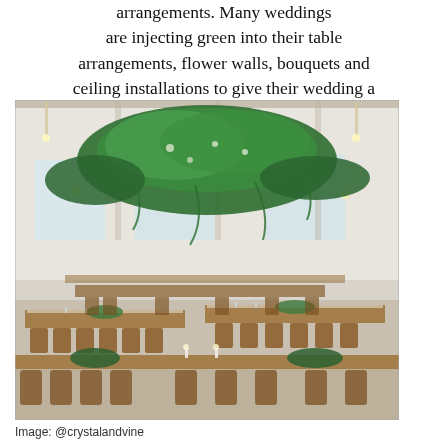arrangements. Many weddings are injecting green into their table arrangements, flower walls, bouquets and ceiling installations to give their wedding a natural and outdoors feel.
[Figure (photo): Wedding reception venue interior with large hanging greenery ceiling installation over long wooden farm tables with cross-back wooden chairs, set with white linens and floral centerpieces, lit by candles and string lights.]
Image: @crystalandvine